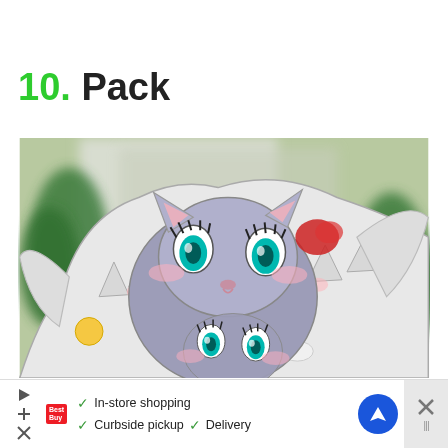10. Pack
[Figure (illustration): Anime-style illustration of a white dragon/creature with teal eyes and a smaller grey cat-like anime character with teal eyes, pink blush marks, and red hair accessory, overlapping in a close-up scene with a blurred green outdoor background.]
In-store shopping  Curbside pickup  Delivery